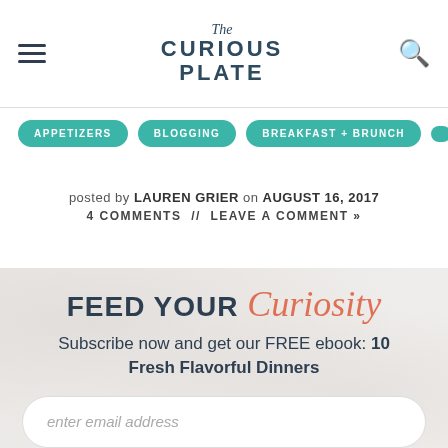The Curious Plate
APPETIZERS
BLOGGING
BREAKFAST + BRUNCH
posted by LAUREN GRIER on AUGUST 16, 2017
4 COMMENTS // LEAVE A COMMENT »
FEED YOUR Curiosity
Subscribe now and get our FREE ebook: 10 Fresh Flavorful Dinners
enter email address